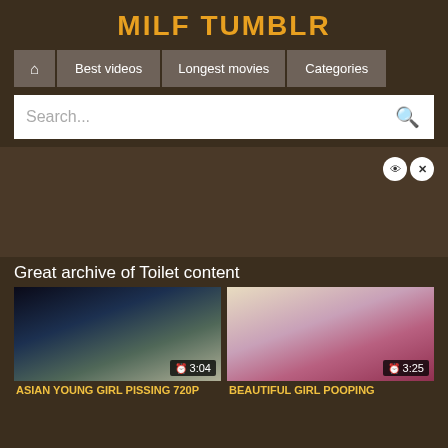MILF TUMBLR
🏠  Best videos  Longest movies  Categories
Search...
Great archive of Toilet content
[Figure (screenshot): Video thumbnail showing person in toilet, duration 3:04]
asian young girl pissing 720p
[Figure (screenshot): Video thumbnail showing person in underwear near toilet, duration 3:25]
BEAUTIFUL GIRL POOPING